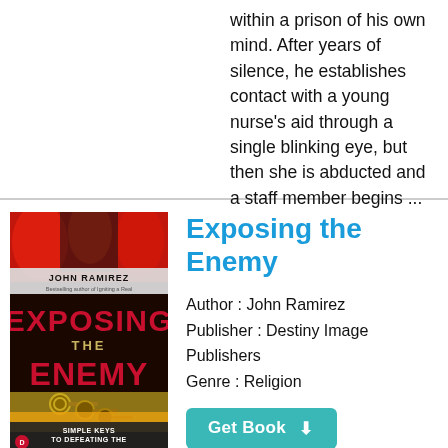within a prison of his own mind. After years of silence, he establishes contact with a young nurse's aid through a single blinking eye, but then she is abducted and a staff member begins ...
[Figure (illustration): Book cover for 'Exposing the Enemy' by John Ramirez, showing red flames at top, bold text 'EXPOSING THE ENEMY' in red and gold, a set of old keys, and subtitle 'Simple Keys to Defeating the Strategies of Satan'. Published by Destiny Image Publishers.]
Exposing the Enemy
Author : John Ramirez
Publisher : Destiny Image Publishers
Genre : Religion
Get Book